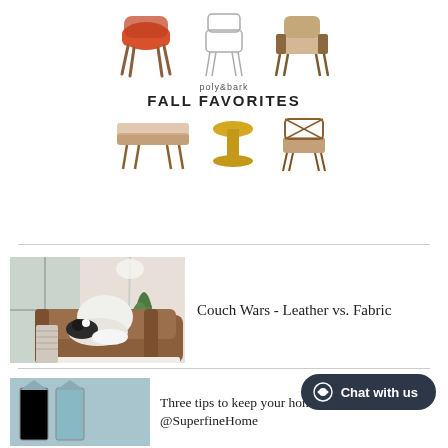[Figure (illustration): poly&bark Fall Favorites advertisement showing 6 furniture pieces (chairs and tables) arranged in two rows with brand name and tagline]
[Figure (photo): Photo of a brown leather couch with a black and white dog lying on it, white fluffy pillows, a floor lamp, a snake plant, and a window with grid panes in the background]
Couch Wars - Leather vs. Fabric
[Figure (photo): Partial photo showing what appears to be minimalist home decor items against a light teal/blue wall]
Three tips to keep your home tidy ft. @SuperfineHome